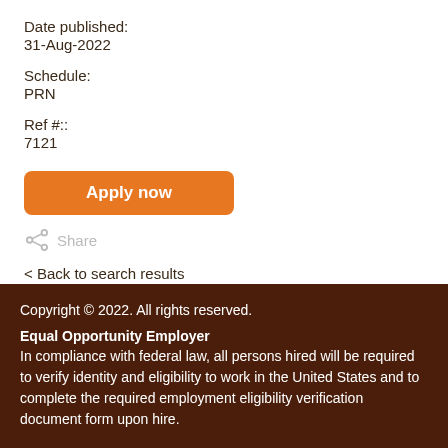Date published:
31-Aug-2022
Schedule:
PRN
Ref #::
7121
Apply now
Share
< Back to search results
Copyright © 2022. All rights reserved.

Equal Opportunity Employer
In compliance with federal law, all persons hired will be required to verify identity and eligibility to work in the United States and to complete the required employment eligibility verification document form upon hire.